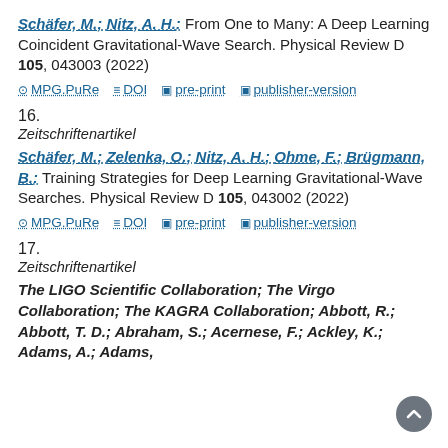Schäfer, M.; Nitz, A. H.: From One to Many: A Deep Learning Coincident Gravitational-Wave Search. Physical Review D 105, 043003 (2022)
MPG.PuRe  DOI  pre-print  publisher-version
16.
Zeitschriftenartikel
Schäfer, M.; Zelenka, O.; Nitz, A. H.; Ohme, F.; Brügmann, B.: Training Strategies for Deep Learning Gravitational-Wave Searches. Physical Review D 105, 043002 (2022)
MPG.PuRe  DOI  pre-print  publisher-version
17.
Zeitschriftenartikel
The LIGO Scientific Collaboration; The Virgo Collaboration; The KAGRA Collaboration; Abbott, R.; Abbott, T. D.; Abraham, S.; Acernese, F.; Ackley, K.; Adams, A.; Adams,